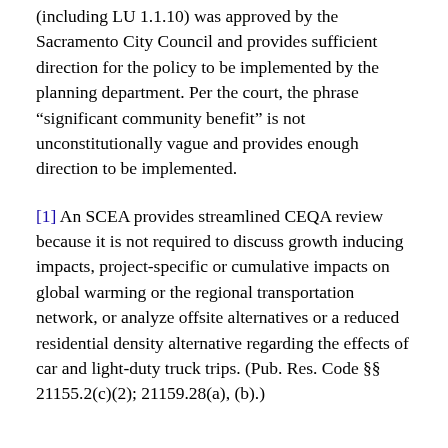(including LU 1.1.10) was approved by the Sacramento City Council and provides sufficient direction for the policy to be implemented by the planning department. Per the court, the phrase “significant community benefit” is not unconstitutionally vague and provides enough direction to be implemented.
[1] An SCEA provides streamlined CEQA review because it is not required to discuss growth inducing impacts, project-specific or cumulative impacts on global warming or the regional transportation network, or analyze offsite alternatives or a reduced residential density alternative regarding the effects of car and light-duty truck trips. (Pub. Res. Code §§ 21155.2(c)(2); 21159.28(a), (b).)